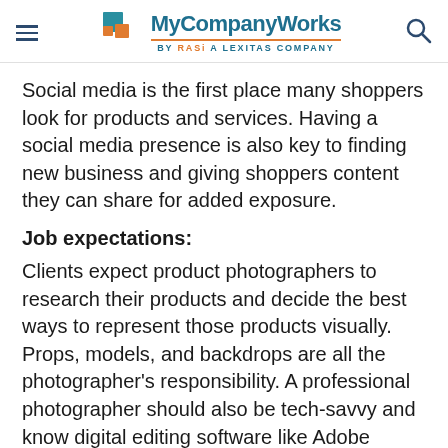MyCompanyWorks BY RASi A LEXITAS COMPANY
Social media is the first place many shoppers look for products and services. Having a social media presence is also key to finding new business and giving shoppers content they can share for added exposure.
Job expectations:
Clients expect product photographers to research their products and decide the best ways to represent those products visually. Props, models, and backdrops are all the photographer's responsibility. A professional photographer should also be tech-savvy and know digital editing software like Adobe Photoshop. Your primary goal will be to agree on a contract with clients, then shoot and